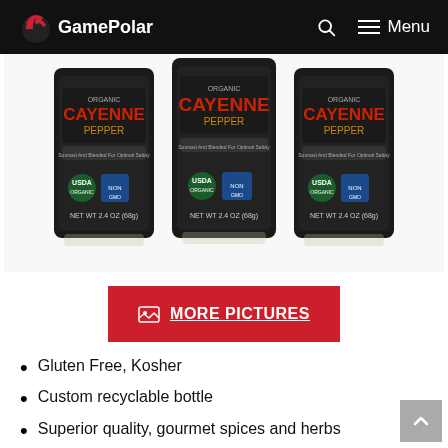GamePolar
[Figure (photo): Three bottles of Organic Cayenne Pepper spice jars (NET WT 2.4 oz / 68g each) with dark labels, shown side by side]
MORE PICTURES
Gluten Free, Kosher
Custom recyclable bottle
Superior quality, gourmet spices and herbs
USDA certified organic